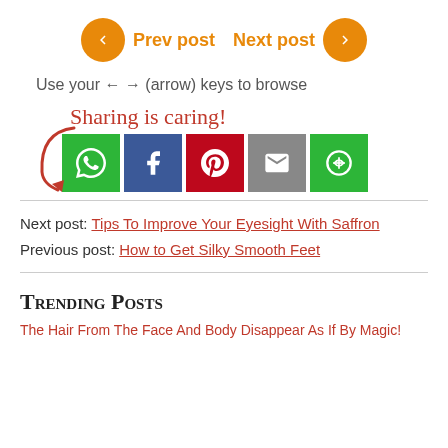[Figure (infographic): Navigation buttons: orange circle with left chevron, 'Prev post', 'Next post', orange circle with right chevron]
Use your ← → (arrow) keys to browse
[Figure (infographic): Sharing is caring! with social share buttons: WhatsApp (green), Facebook (blue), Pinterest (red), Email (gray), More (green)]
Next post: Tips To Improve Your Eyesight With Saffron
Previous post: How to Get Silky Smooth Feet
Trending Posts
The Hair From The Face And Body Disappear As If By Magic!